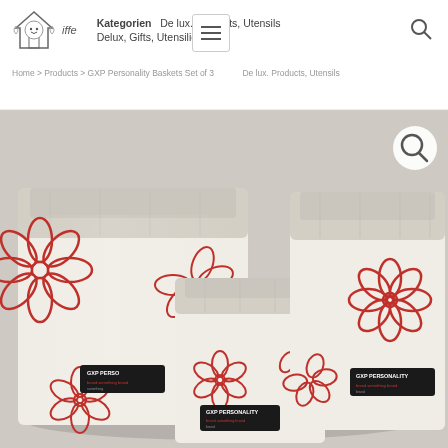Kategorien  De lux. Products, Utensils  Delux, Gifts, Utensilio
Home > Products > GXP Personality Baskets Set of 3
[Figure (photo): Three fabric storage baskets of different sizes, white/cream colored with red floral embroidery pattern and GXP Personality brand labels, arranged on a light gray/beige background. A magnifying glass zoom icon appears in the top right of the image.]